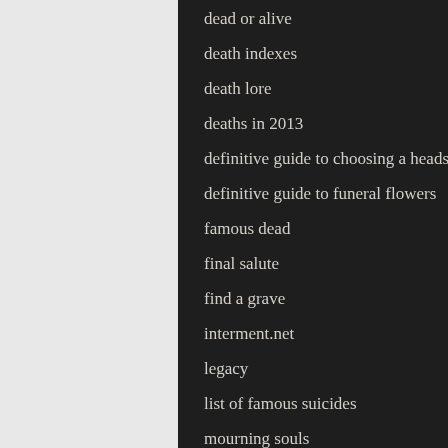dead or alive
death indexes
death lore
deaths in 2013
definitive guide to choosing a headstone
definitive guide to funeral flowers
famous dead
final salute
find a grave
interment.net
legacy
list of famous suicides
mourning souls
obit magazine
obituary forum
poets' graves
society of professional obituary writers